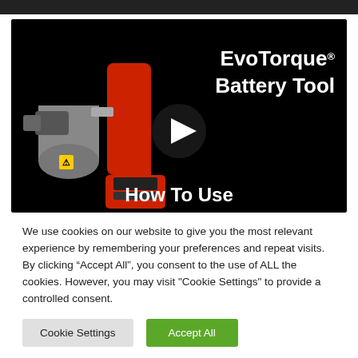[Figure (screenshot): Video thumbnail showing EvoTorque Battery Tool with a play button overlay. The thumbnail features a black background, a battery-powered torque tool on the left, and white bold text reading 'EvoTorque® Battery Tool' on the upper right, and 'How To Use' centered at the bottom.]
We use cookies on our website to give you the most relevant experience by remembering your preferences and repeat visits. By clicking "Accept All", you consent to the use of ALL the cookies. However, you may visit "Cookie Settings" to provide a controlled consent.